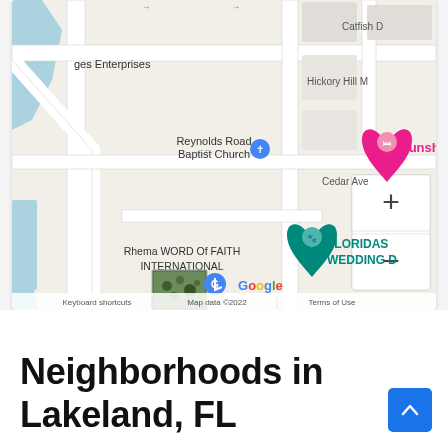[Figure (map): Google Maps screenshot showing Reynolds Road Baptist Church, Rhema WORD Of FAITH INTERNATIONAL, Sunshine Villa, FLORIDAS WEDDING D[estination], Cedar Ave, Catfish D[rive], Hickory Hill M[anor], with zoom controls (+/-) and Google branding. Map data ©2022. Keyboard shortcuts, Terms of Use links visible.]
Neighborhoods in Lakeland, FL